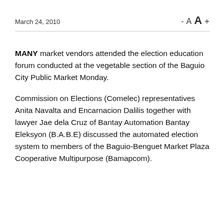March 24, 2010
MANY market vendors attended the election education forum conducted at the vegetable section of the Baguio City Public Market Monday.
Commission on Elections (Comelec) representatives Anita Navalta and Encarnacion Dalilis together with lawyer Jae dela Cruz of Bantay Automation Bantay Eleksyon (B.A.B.E) discussed the automated election system to members of the Baguio-Benguet Market Plaza Cooperative Multipurpose (Bamapcom).